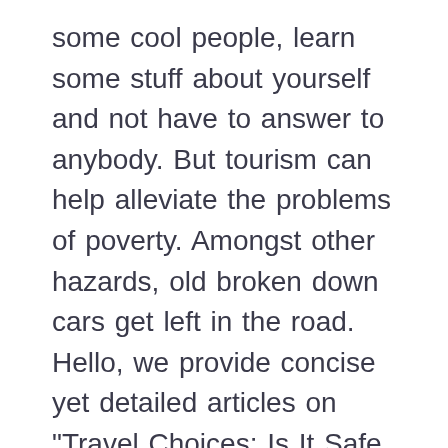some cool people, learn some stuff about yourself and not have to answer to anybody. But tourism can help alleviate the problems of poverty. Amongst other hazards, old broken down cars get left in the road. Hello, we provide concise yet detailed articles on "Travel Choices: Is It Safe To Travel To Bolivia" topic. Reconsider travel to Bolivia due to COVID-19.Exercise increased caution in Bolivia due to civil unrest.. Read the Department of Stateâs COVID-19 page before you plan any international travel.. However, you’ve got to be properly prepared if you do plan to visit Bolivia, and it definitely helps if you’re an adventurous family. Hi, Yes, Bolivia is safe to travel. more than people think. That